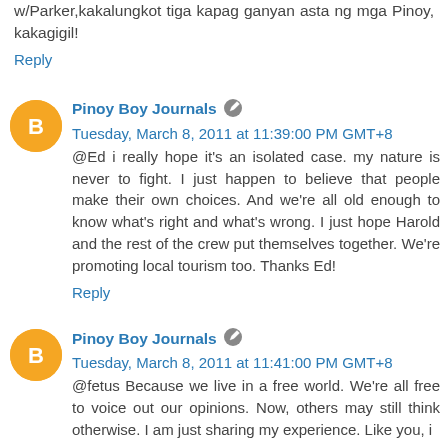w/Parker,kakalungkot tiga kapag ganyan asta ng mga Pinoy, kakagigil!
Reply
Pinoy Boy Journals [edit icon] Tuesday, March 8, 2011 at 11:39:00 PM GMT+8
@Ed i really hope it's an isolated case. my nature is never to fight. I just happen to believe that people make their own choices. And we're all old enough to know what's right and what's wrong. I just hope Harold and the rest of the crew put themselves together. We're promoting local tourism too. Thanks Ed!
Reply
Pinoy Boy Journals [edit icon] Tuesday, March 8, 2011 at 11:41:00 PM GMT+8
@fetus Because we live in a free world. We're all free to voice out our opinions. Now, others may still think otherwise. I am just sharing my experience. Like you, i